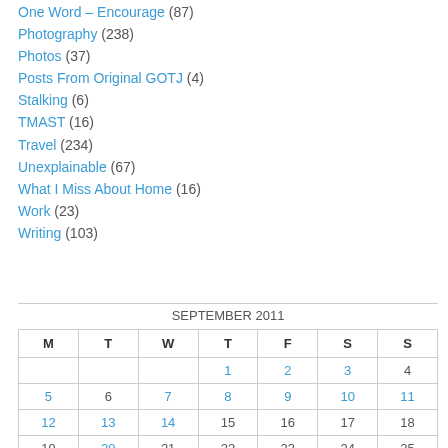One Word – Encourage (87)
Photography (238)
Photos (37)
Posts From Original GOTJ (4)
Stalking (6)
TMAST (16)
Travel (234)
Unexplainable (67)
What I Miss About Home (16)
Work (23)
Writing (103)
| M | T | W | T | F | S | S |
| --- | --- | --- | --- | --- | --- | --- |
|  |  |  | 1 | 2 | 3 | 4 |
| 5 | 6 | 7 | 8 | 9 | 10 | 11 |
| 12 | 13 | 14 | 15 | 16 | 17 | 18 |
| 19 | 20 | 21 | 22 | 23 | 24 | 25 |